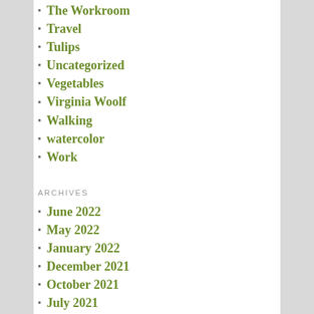The Workroom
Travel
Tulips
Uncategorized
Vegetables
Virginia Woolf
Walking
watercolor
Work
ARCHIVES
June 2022
May 2022
January 2022
December 2021
October 2021
July 2021
May 2021
March 2021
February 2021
January 2021